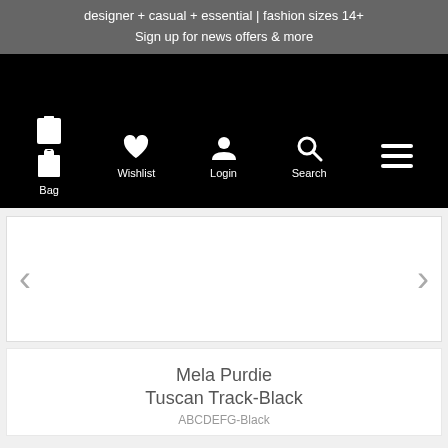designer + casual + essential | fashion sizes 14+
Sign up for news offers & more
[Figure (screenshot): Black navigation bar with icons: Bag (shopping bag icon), Wishlist (heart icon), Login (person icon), Search (magnifying glass icon), and a hamburger menu icon. All icons are white on black background.]
[Figure (screenshot): Product image slider area with left arrow (<) and right arrow (>) navigation buttons on a white background.]
Mela Purdie
Tuscan Track-Black
ABCDEFG-Black